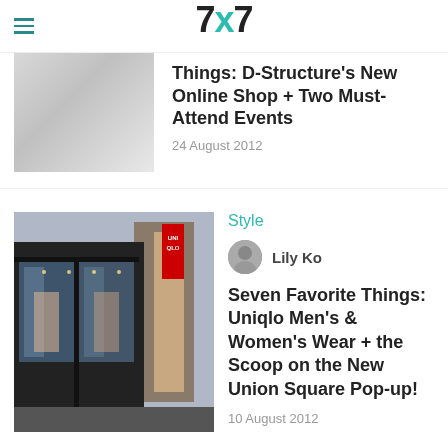7x7
Things: D-Structure's New Online Shop + Two Must-Attend Events
24 August 2012
[Figure (photo): Storefront of Uniqlo with glass windows and a red Uniqlo sign]
Style
Lily Ko
Seven Favorite Things: Uniqlo Men's & Women's Wear + the Scoop on the New Union Square Pop-up!
10 August 2012